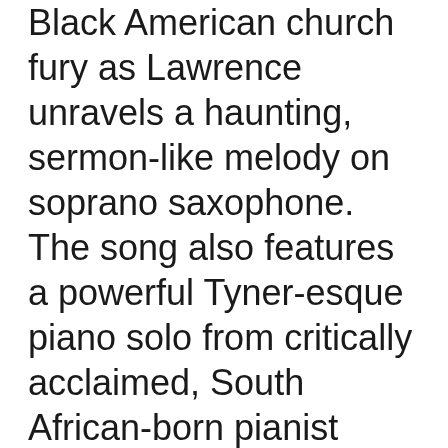Black American church fury as Lawrence unravels a haunting, sermon-like melody on soprano saxophone. The song also features a powerful Tyner-esque piano solo from critically acclaimed, South African-born pianist Nduduzo Makhathini and celestial harp accompaniment from Destiny Muhammad.
Lawrence composed and recorded most of the music on New Sky during the beginning of October 2020. As someone who practices Egyptian Ankh mediation, and breathing mediation